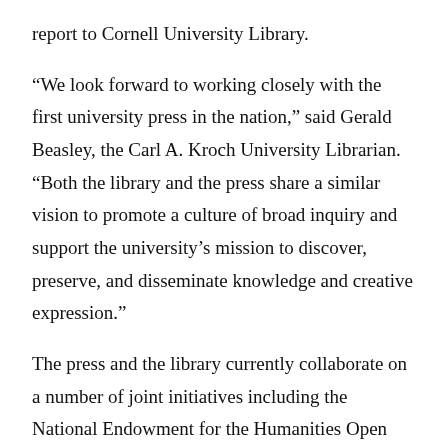report to Cornell University Library.
“We look forward to working closely with the first university press in the nation,” said Gerald Beasley, the Carl A. Kroch University Librarian. “Both the library and the press share a similar vision to promote a culture of broad inquiry and support the university’s mission to discover, preserve, and disseminate knowledge and creative expression.”
The press and the library currently collaborate on a number of joint initiatives including the National Endowment for the Humanities Open Book Project and the Signale series in German studies, both open access projects.